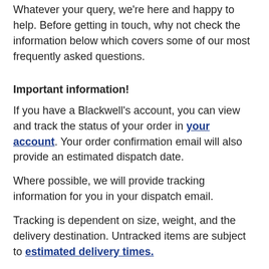Whatever your query, we're here and happy to help. Before getting in touch, why not check the information below which covers some of our most frequently asked questions.
Important information!
If you have a Blackwell's account, you can view and track the status of your order in your account. Your order confirmation email will also provide an estimated dispatch date.
Where possible, we will provide tracking information for you in your dispatch email.
Tracking is dependent on size, weight, and the delivery destination. Untracked items are subject to estimated delivery times.